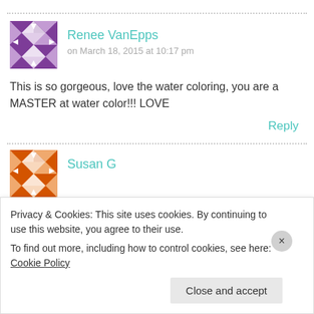[Figure (illustration): Purple geometric avatar for Renee VanEpps]
Renee VanEpps
on March 18, 2015 at 10:17 pm
This is so gorgeous, love the water coloring, you are a MASTER at water color!!! LOVE
Reply
[Figure (illustration): Orange geometric avatar for Susan G]
Susan G
Privacy & Cookies: This site uses cookies. By continuing to use this website, you agree to their use.
To find out more, including how to control cookies, see here: Cookie Policy
Close and accept